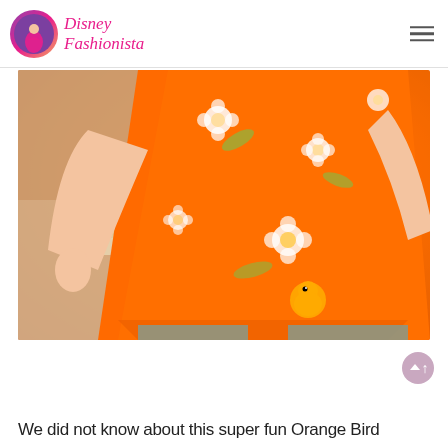Disney Fashionista
[Figure (photo): Man wearing an orange floral Hawaiian shirt featuring Orange Bird character, walking near a railing with a sandy/pink building in the background]
We did not know about this super fun Orange Bird